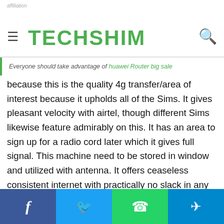TECHSHIM
Everyone should take advantage of huawei Router big sale
because this is the quality 4g transfer/area of interest because it upholds all of the Sims. It gives pleasant velocity with airtel, though different Sims likewise feature admirably on this. It has an area to sign up for a radio cord later which it gives full signal. This machine need to be stored in window and utilized with antenna. It offers ceaseless consistent internet with practically no slack in any respect like a broadband connection. كيف تربح في القمار I get downloading paces of somewhere within the variety of 20mbps and 10 mbps with this device. The satisfactory thing is that it works with all the Sims. I am getting download velocity of 12mbs with thought moreover. It is faster than huawei's personal dongal and Wi-Fi areas of hobby. That is the fastest Wi-Fi system in UK as of
Facebook | Twitter | WhatsApp | Telegram